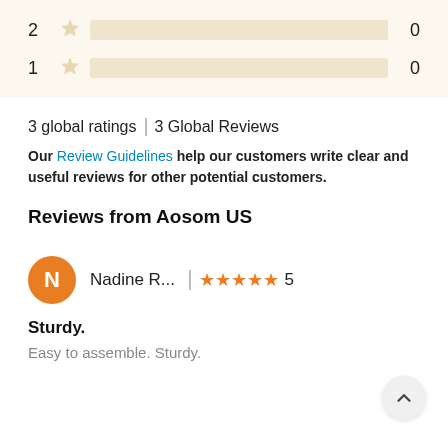[Figure (infographic): Rating bar rows showing 2-star and 1-star ratings with empty bars and count of 0]
3 global ratings | 3 Global Reviews
Our Review Guidelines help our customers write clear and useful reviews for other potential customers.
Reviews from Aosom US
Nadine R... | 5 stars — 5
Sturdy.
Easy to assemble. Sturdy.